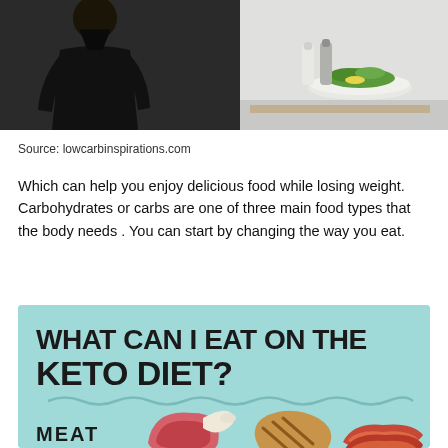[Figure (photo): Photo of a person wearing a black apron in a kitchen with salt and pepper shakers and a plate of vegetables on the right side]
Source: lowcarbinspirations.com
Which can help you enjoy delicious food while losing weight. Carbohydrates or carbs are one of three main food types that the body needs . You can start by changing the way you eat.
[Figure (infographic): Infographic on light teal background with bold black text reading 'WHAT CAN I EAT ON THE KETO DIET?' followed by a wavy decorative line, and images of meat (steak, grilled chicken, bacon) with the label 'MEAT']